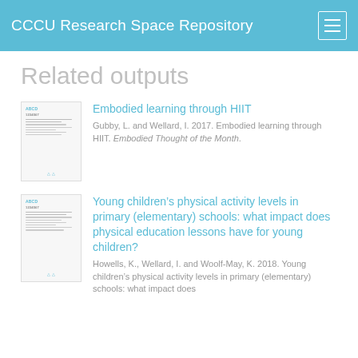CCCU Research Space Repository
Related outputs
Embodied learning through HIIT
Gubby, L. and Wellard, I. 2017. Embodied learning through HIIT. Embodied Thought of the Month.
Young children’s physical activity levels in primary (elementary) schools: what impact does physical education lessons have for young children?
Howells, K., Wellard, I. and Woolf-May, K. 2018. Young children’s physical activity levels in primary (elementary) schools: what impact does